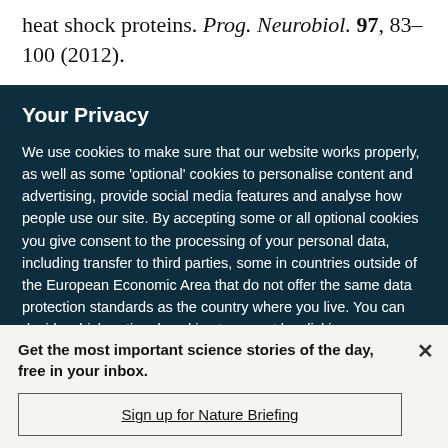heat shock proteins. Prog. Neurobiol. 97, 83–100 (2012).
Your Privacy
We use cookies to make sure that our website works properly, as well as some 'optional' cookies to personalise content and advertising, provide social media features and analyse how people use our site. By accepting some or all optional cookies you give consent to the processing of your personal data, including transfer to third parties, some in countries outside of the European Economic Area that do not offer the same data protection standards as the country where you live. You can decide which optional cookies to accept by clicking on 'Manage Settings', where you can
Get the most important science stories of the day, free in your inbox.
Sign up for Nature Briefing